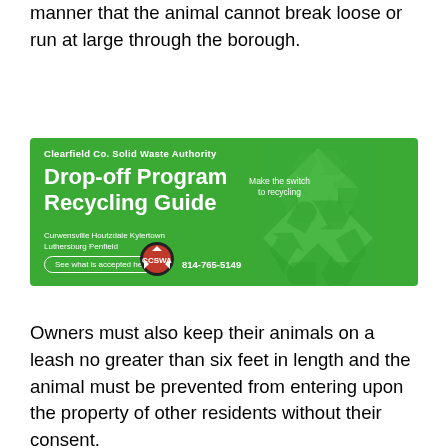manner that the animal cannot break loose or run at large through the borough.
[Figure (infographic): Clearfield Co. Solid Waste Authority Drop-off Program Recycling Guide advertisement banner with green background, recycling arrows logo, locations (Curwensville Houtzdale Kylertown Luthersburg Penfield), phone number 814-765-5149, and button 'See what is accepted here'.]
Owners must also keep their animals on a leash no greater than six feet in length and the animal must be prevented from entering upon the property of other residents without their consent.